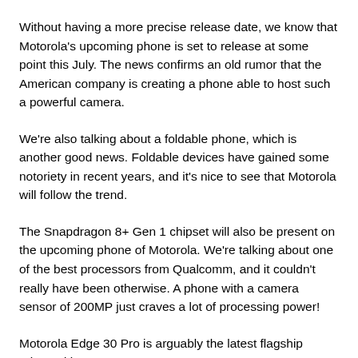Without having a more precise release date, we know that Motorola's upcoming phone is set to release at some point this July. The news confirms an old rumor that the American company is creating a phone able to host such a powerful camera.
We're also talking about a foldable phone, which is another good news. Foldable devices have gained some notoriety in recent years, and it's nice to see that Motorola will follow the trend.
The Snapdragon 8+ Gen 1 chipset will also be present on the upcoming phone of Motorola. We're talking about one of the best processors from Qualcomm, and it couldn't really have been otherwise. A phone with a camera sensor of 200MP just craves a lot of processing power!
Motorola Edge 30 Pro is arguably the latest flagship released by